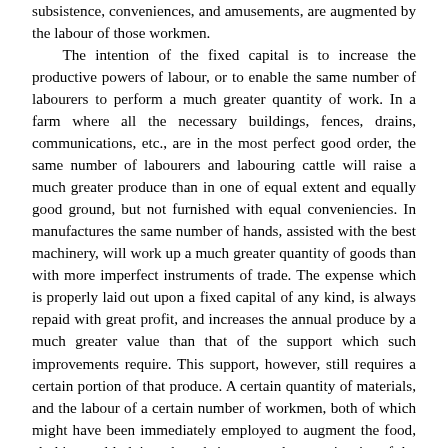subsistence, conveniences, and amusements, are augmented by the labour of those workmen.

The intention of the fixed capital is to increase the productive powers of labour, or to enable the same number of labourers to perform a much greater quantity of work. In a farm where all the necessary buildings, fences, drains, communications, etc., are in the most perfect good order, the same number of labourers and labouring cattle will raise a much greater produce than in one of equal extent and equally good ground, but not furnished with equal conveniencies. In manufactures the same number of hands, assisted with the best machinery, will work up a much greater quantity of goods than with more imperfect instruments of trade. The expense which is properly laid out upon a fixed capital of any kind, is always repaid with great profit, and increases the annual produce by a much greater value than that of the support which such improvements require. This support, however, still requires a certain portion of that produce. A certain quantity of materials, and the labour of a certain number of workmen, both of which might have been immediately employed to augment the food, clothing and lodging, the subsistence and conveniencies of the society, are thus diverted to another employment, highly advantageous indeed, but still different from this one. It is upon this account that all such improvements in mechanics, as enable